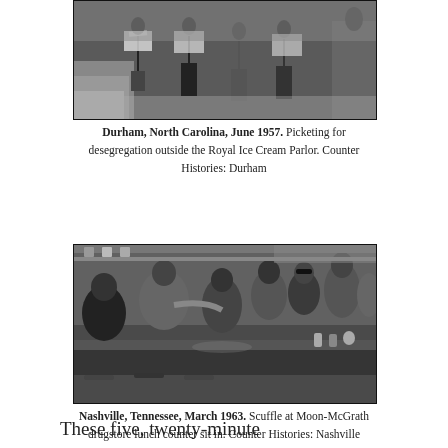[Figure (photo): Black and white photograph of people picketing on a sidewalk, carrying protest signs, Durham North Carolina 1957]
Durham, North Carolina, June 1957. Picketing for desegregation outside the Royal Ice Cream Parlor. Counter Histories: Durham
[Figure (photo): Black and white photograph of a scuffle at Moon-McGrath drugstore lunch counter sit-in, Nashville Tennessee 1963]
Nashville, Tennessee, March 1963. Scuffle at Moon-McGrath drugstore lunch counter sit in. Counter Histories: Nashville
These five, twenty-minute